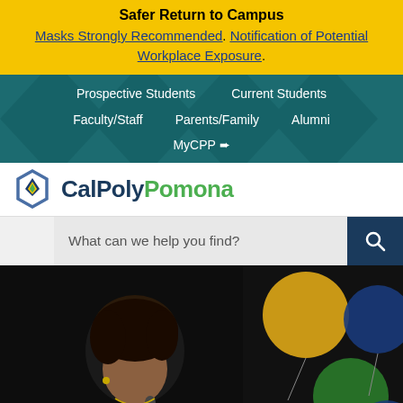Safer Return to Campus
Masks Strongly Recommended. Notification of Potential Workplace Exposure.
Prospective Students   Current Students   Faculty/Staff   Parents/Family   Alumni   MyCPP
[Figure (logo): Cal Poly Pomona logo with geometric diamond/hexagon icon in blue, yellow, and green, and text CalPolyPomona]
What can we help you find?
[Figure (photo): Woman in green dress speaking at an event with gold, green and blue balloons in background]